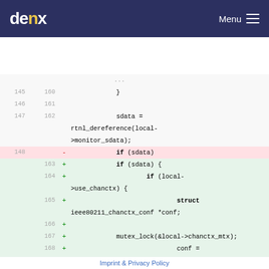denx  Menu
[Figure (screenshot): Code diff viewer showing lines 145-170 of a C source file. Lines 145-147/160-162 show context with closing brace and sdata = rtnl_dereference(local->monitor_sdata);. Line 148 is removed (red): if (sdata). Lines 163-170 are added (green): if (sdata) {, if (local->use_chanctx) {, struct ieee80211_chanctx_conf *conf;, mutex_lock(&local->chanctx_mtx);, conf = rcu_dereference_protected(, sdata->vif.chanctx_conf,]
Imprint & Privacy Policy